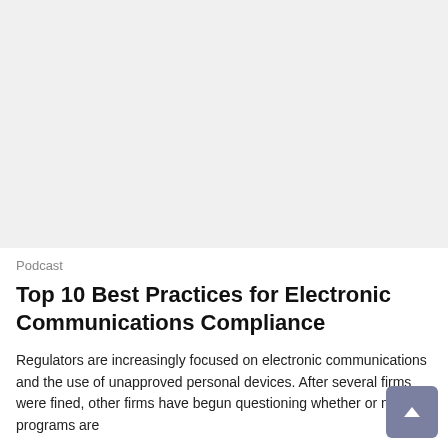[Figure (photo): Large rectangular image placeholder with light gray background at the top of the page]
Podcast
Top 10 Best Practices for Electronic Communications Compliance
Regulators are increasingly focused on electronic communications and the use of unapproved personal devices. After several firms were fined, other firms have begun questioning whether or not their programs are